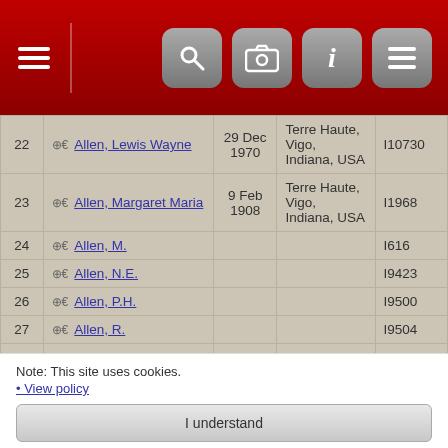[Figure (screenshot): Red navigation bar with hamburger menu on left and icon buttons (search, camera, info, menu) on right]
| # | Name | Date | Place | ID |
| --- | --- | --- | --- | --- |
| 22 | Allen, Lewis Wayne | 29 Dec 1970 | Terre Haute, Vigo, Indiana, USA | I10730 |
| 23 | Allen, Margaret Maria | 9 Feb 1908 | Terre Haute, Vigo, Indiana, USA | I1968 |
| 24 | Allen, M. |  |  | I616 |
| 25 | Allen, N.E. |  |  | I9423 |
| 26 | Allen, P.H. |  |  | I9500 |
| 27 | Allen, R. |  |  | I9504 |
| 28 | Allen, Ruth L. | 29 Mar 1918 | Terre Haute, Vigo, Indiana, | I1975 |
Note: This site uses cookies.
• View policy
I understand